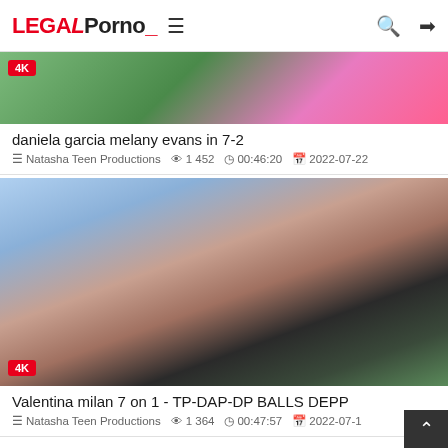LegalPorno
[Figure (screenshot): Thumbnail image for video 'daniela garcia melany evans in 7-2' with 4K badge, showing outdoor scene with figures in colorful clothes]
daniela garcia melany evans in 7-2
Natasha Teen Productions  1 452  00:46:20  2022-07-22
[Figure (screenshot): Thumbnail image for video 'Valentina milan 7 on 1 - TP-DAP-DP BALLS DEPP' with 4K badge, showing woman with dark hair outdoors with blue sky and trees]
Valentina milan 7 on 1 - TP-DAP-DP BALLS DEPP
Natasha Teen Productions  1 364  00:47:57  2022-07-18